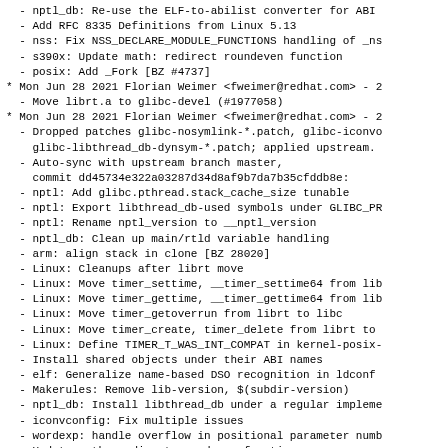- nptl_db: Re-use the ELF-to-abilist converter for ABI
- Add RFC 8335 Definitions from Linux 5.13
- nss: Fix NSS_DECLARE_MODULE_FUNCTIONS handling of _ns
- s390x: Update math: redirect roundeven function
- posix: Add _Fork [BZ #4737]
* Mon Jun 28 2021 Florian Weimer <fweimer@redhat.com> - 2
  - Move librt.a to glibc-devel (#1977058)
* Mon Jun 28 2021 Florian Weimer <fweimer@redhat.com> - 2
  - Dropped patches glibc-nosymlink-*.patch, glibc-iconvc
    glibc-libthread_db-dynsym-*.patch; applied upstream.
  - Auto-sync with upstream branch master,
    commit dd45734e322a03287d34d8af9b7da7b35cfddb8e:
  - nptl: Add glibc.pthread.stack_cache_size tunable
  - nptl: Export libthread_db-used symbols under GLIBC_PR
  - nptl: Rename nptl_version to __nptl_version
  - nptl_db: Clean up main/rtld variable handling
  - arm: align stack in clone [BZ 28020]
  - Linux: Cleanups after librt move
  - Linux: Move timer_settime, __timer_settime64 from lib
  - Linux: Move timer_gettime, __timer_gettime64 from lib
  - Linux: Move timer_getoverrun from librt to libc
  - Linux: Move timer_create, timer_delete from librt to
  - Linux: Define TIMER_T_WAS_INT_COMPAT in kernel-posix-
  - Install shared objects under their ABI names
  - elf: Generalize name-based DSO recognition in ldconf
  - Makerules: Remove lib-version, $(subdir-version)
  - nptl_db: Install libthread_db under a regular impleme
  - iconvconfig: Fix multiple issues
  - wordexp: handle overflow in positional parameter numb
  - Update math: redirect roundeven function